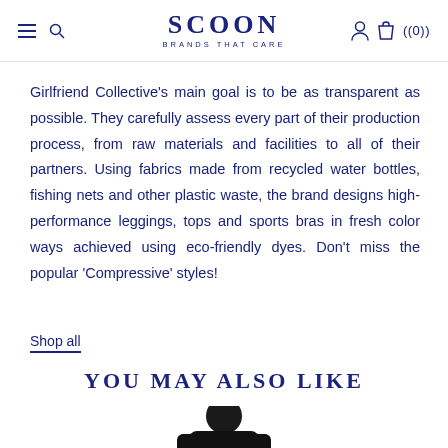SCOON BRANDS THAT CARE — ((0))
Girlfriend Collective's main goal is to be as transparent as possible. They carefully assess every part of their production process, from raw materials and facilities to all of their partners. Using fabrics made from recycled water bottles, fishing nets and other plastic waste, the brand designs high-performance leggings, tops and sports bras in fresh color ways achieved using eco-friendly dyes. Don't miss the popular ‘Compressive’ styles!
Shop all
YOU MAY ALSO LIKE
[Figure (photo): Partial view of a person wearing a dark jacket, cropped at the bottom of the page]